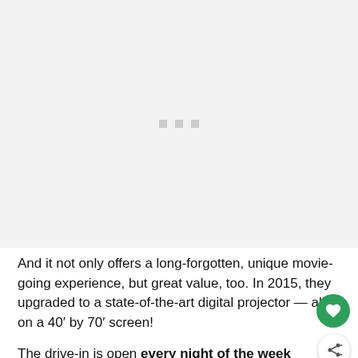[Figure (photo): Light gray placeholder image area with three small gray squares/dots centered in the middle]
And it not only offers a long-forgotten, unique movie-going experience, but great value, too. In 2015, they upgraded to a state-of-the-art digital projector — all on a 40′ by 70′ screen!
The drive-in is open every night of the week